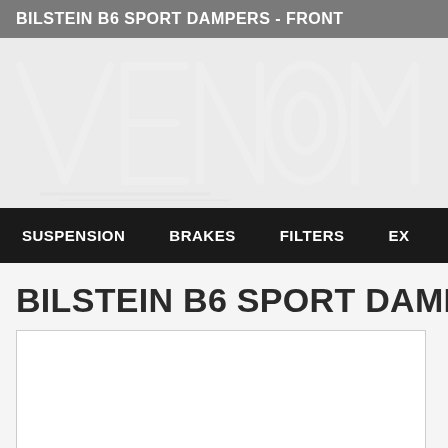BILSTEIN B6 SPORT DAMPERS - FRONT
[Figure (logo): VENOM logo in light gray watermark style on light gray background]
SUSPENSION   BRAKES   FILTERS   EX...
BILSTEIN B6 SPORT DAMPERS
[Figure (photo): Product image placeholder white box]